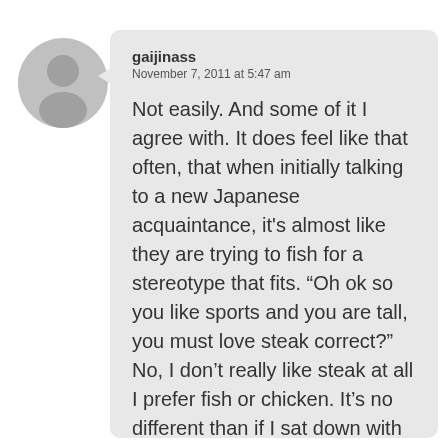[Figure (illustration): Gray circular avatar placeholder with a person silhouette icon]
gaijinass
November 7, 2011 at 5:47 am

Not easily. And some of it I agree with. It does feel like that often, that when initially talking to a new Japanese acquaintance, it's almost like they are trying to fish for a stereotype that fits. “Oh ok so you like sports and you are tall, you must love steak correct?” No, I don’t really like steak at all I prefer fish or chicken. It’s no different than if I sat down with a black guy from Philly and said “I see you are black so you like fried